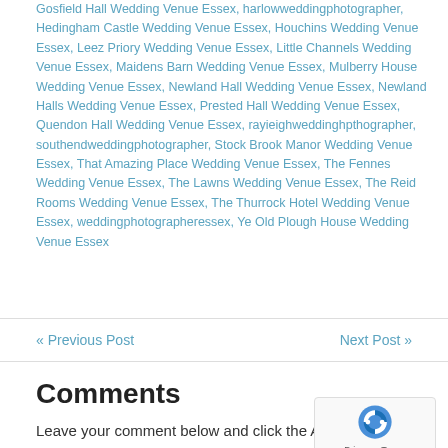Gosfield Hall Wedding Venue Essex, harlowweddingphotographer, Hedingham Castle Wedding Venue Essex, Houchins Wedding Venue Essex, Leez Priory Wedding Venue Essex, Little Channels Wedding Venue Essex, Maidens Barn Wedding Venue Essex, Mulberry House Wedding Venue Essex, Newland Hall Wedding Venue Essex, Newland Halls Wedding Venue Essex, Prested Hall Wedding Venue Essex, Quendon Hall Wedding Venue Essex, rayieighweddinghpthographer, southendweddingphotographer, Stock Brook Manor Wedding Venue Essex, That Amazing Place Wedding Venue Essex, The Fennes Wedding Venue Essex, The Lawns Wedding Venue Essex, The Reid Rooms Wedding Venue Essex, The Thurrock Hotel Wedding Venue Essex, weddingphotographeressex, Ye Old Plough House Wedding Venue Essex
« Previous Post
Next Post »
Comments
Leave your comment below and click the Add Comment button